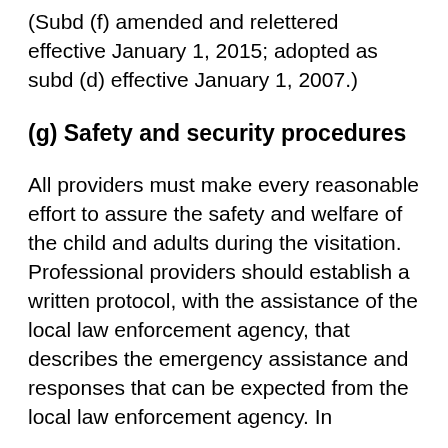(Subd (f) amended and relettered effective January 1, 2015; adopted as subd (d) effective January 1, 2007.)
(g) Safety and security procedures
All providers must make every reasonable effort to assure the safety and welfare of the child and adults during the visitation. Professional providers should establish a written protocol, with the assistance of the local law enforcement agency, that describes the emergency assistance and responses that can be expected from the local law enforcement agency. In